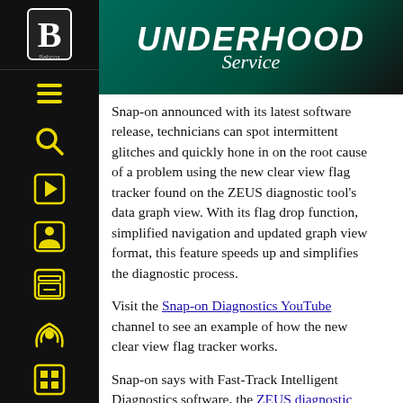UNDERHOOD Service
Snap-on announced with its latest software release, technicians can spot intermittent glitches and quickly hone in on the root cause of a problem using the new clear view flag tracker found on the ZEUS diagnostic tool's data graph view. With its flag drop function, simplified navigation and updated graph view format, this feature speeds up and simplifies the diagnostic process.
Visit the Snap-on Diagnostics YouTube channel to see an example of how the new clear view flag tracker works.
Snap-on says with Fast-Track Intelligent Diagnostics software, the ZEUS diagnostic tool is the smart choice for anyone who wants the most